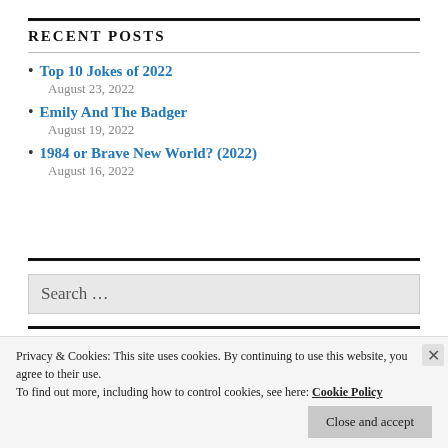RECENT POSTS
Top 10 Jokes of 2022
August 23, 2022
Emily And The Badger
August 19, 2022
1984 or Brave New World? (2022)
August 16, 2022
Search ...
Privacy & Cookies: This site uses cookies. By continuing to use this website, you agree to their use.
To find out more, including how to control cookies, see here: Cookie Policy
Close and accept